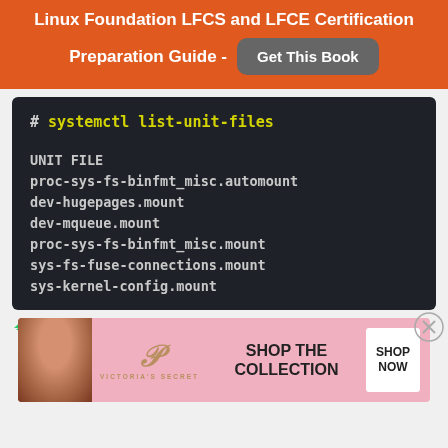Linux Foundation LFCS and LFCE Certification Preparation Guide - Get This Book
[Figure (screenshot): Terminal code block showing command: # systemctl list-unit-files, followed by output listing UNIT FILE entries: proc-sys-fs-binfmt_misc.automount, dev-hugepages.mount, dev-mqueue.mount, proc-sys-fs-binfmt_misc.mount, sys-fs-fuse-connections.mount, sys-kernel-config.mount]
[Figure (photo): Victoria's Secret advertisement banner with model photo, VS logo, 'SHOP THE COLLECTION' text, and 'SHOP NOW' button]